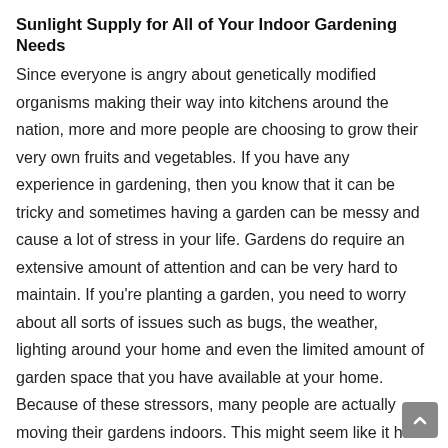Sunlight Supply for All of Your Indoor Gardening Needs
Since everyone is angry about genetically modified organisms making their way into kitchens around the nation, more and more people are choosing to grow their very own fruits and vegetables. If you have any experience in gardening, then you know that it can be tricky and sometimes having a garden can be messy and cause a lot of stress in your life. Gardens do require an extensive amount of attention and can be very hard to maintain. If you're planting a garden, you need to worry about all sorts of issues such as bugs, the weather, lighting around your home and even the limited amount of garden space that you have available at your home. Because of these stressors, many people are actually moving their gardens indoors. This might seem like it has a lot of its own issues, but while some issues are present with indoor gardening, you never have to worry about seasons or about invasive species